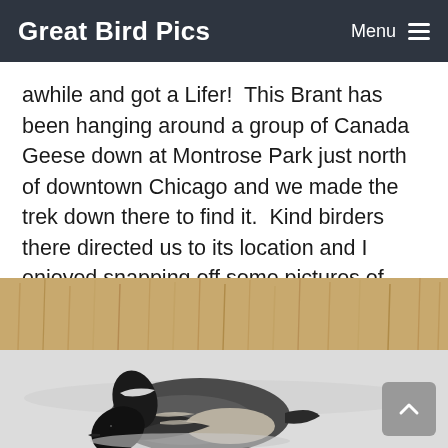Great Bird Pics   Menu
awhile and got a Lifer!  This Brant has been hanging around a group of Canada Geese down at Montrose Park just north of downtown Chicago and we made the trek down there to find it.  Kind birders there directed us to its location and I enjoyed snapping off some pictures of birds (after taking many grandchildren pics at Christmas).  Below is the Brant.
[Figure (photo): A Brant goose on snowy ground with dry grass/reeds in the background. The bird has a dark head and neck with white markings, and a mottled dark-grey and white body.]